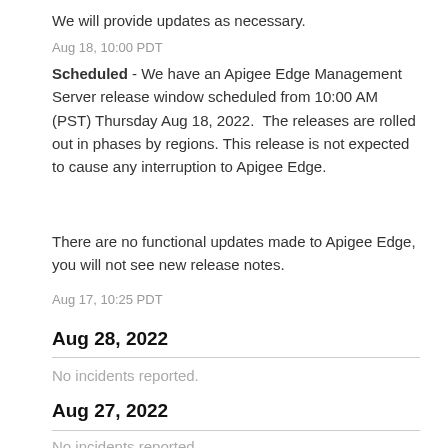We will provide updates as necessary.
Aug 18, 10:00 PDT
Scheduled - We have an Apigee Edge Management Server release window scheduled from 10:00 AM (PST) Thursday Aug 18, 2022.  The releases are rolled out in phases by regions. This release is not expected to cause any interruption to Apigee Edge.
There are no functional updates made to Apigee Edge, you will not see new release notes.
Aug 17, 10:25 PDT
Aug 28, 2022
No incidents reported.
Aug 27, 2022
No incidents reported.